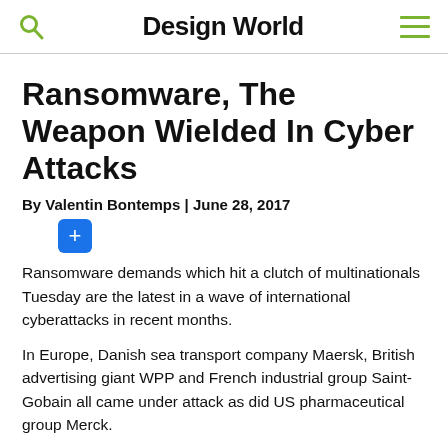Design World
Ransomware, The Weapon Wielded In Cyber Attacks
By Valentin Bontemps | June 28, 2017
[Figure (other): Blue square plus button / share icon]
Ransomware demands which hit a clutch of multinationals Tuesday are the latest in a wave of international cyberattacks in recent months.
In Europe, Danish sea transport company Maersk, British advertising giant WPP and French industrial group Saint-Gobain all came under attack as did US pharmaceutical group Merck.